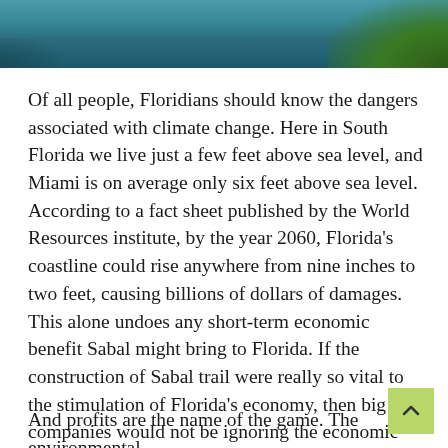[Figure (photo): Aerial photo of water and green vegetation/trees along the coastline, cropped at the top of the page]
Of all people, Floridians should know the dangers associated with climate change. Here in South Florida we live just a few feet above sea level, and Miami is on average only six feet above sea level. According to a fact sheet published by the World Resources institute, by the year 2060, Florida's coastline could rise anywhere from nine inches to two feet, causing billions of dollars of damages. This alone undoes any short-term economic benefit Sabal might bring to Florida. If the construction of Sabal trail were really so vital to the stimulation of Florida's economy, then big oil companies would not be ignoring the economic damage that the pipeline has capability of affecting in the form of environmental harm. No, the venture does not exist for any altruistic reasons, it solely exists to drive up profits for all invested.
And profits are the name of the game. The environmental